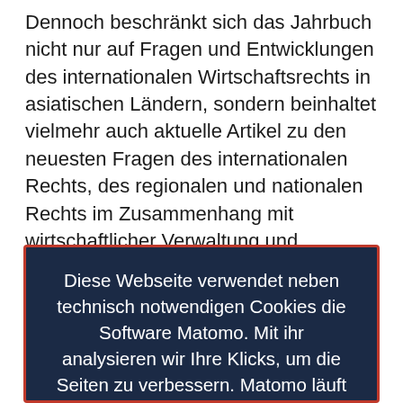Dennoch beschränkt sich das Jahrbuch nicht nur auf Fragen und Entwicklungen des internationalen Wirtschaftsrechts in asiatischen Ländern, sondern beinhaltet vielmehr auch aktuelle Artikel zu den neuesten Fragen des internationalen Rechts, des regionalen und nationalen Rechts im Zusammenhang mit wirtschaftlicher Verwaltung und Integration, Analysen führender Fälle, Buchbesprechungen und Dokumentationen.
Diese Webseite verwendet neben technisch notwendigen Cookies die Software Matomo. Mit ihr analysieren wir Ihre Klicks, um die Seiten zu verbessern. Matomo läuft auf einem Server der Universität. Ihre Daten werden nur dort für maximal sechs Monate gespeichert und nicht an Dritte weitergegeben. Eine